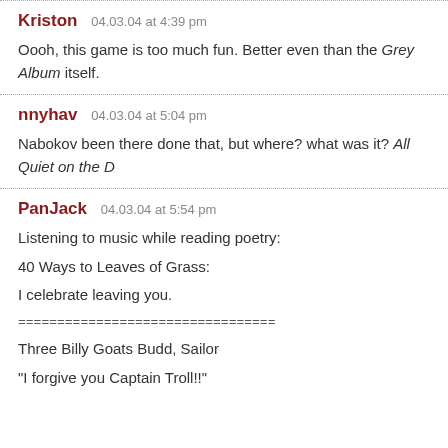Kriston  04.03.04 at 4:39 pm
Oooh, this game is too much fun. Better even than the Grey Album itself.
nnyhav  04.03.04 at 5:04 pm
Nabokov been there done that, but where? what was it? All Quiet on the D
PanJack  04.03.04 at 5:54 pm
Listening to music while reading poetry:
40 Ways to Leaves of Grass:
I celebrate leaving you.
=================================
Three Billy Goats Budd, Sailor
"I forgive you Captain Troll!!"